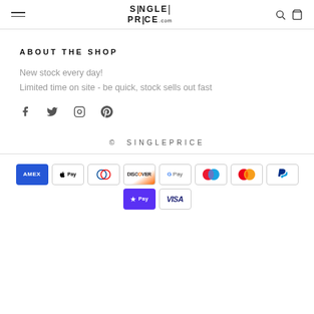SINGLEPRICE.com navigation header
ABOUT THE SHOP
New stock every day!
Limited time on site - be quick, stock sells out fast
[Figure (other): Social media icons: Facebook, Twitter, Instagram, Pinterest]
© SINGLEPRICE
[Figure (other): Payment method icons: American Express, Apple Pay, Diners Club, Discover, Google Pay, Maestro, Mastercard, PayPal, Shop Pay, Visa]